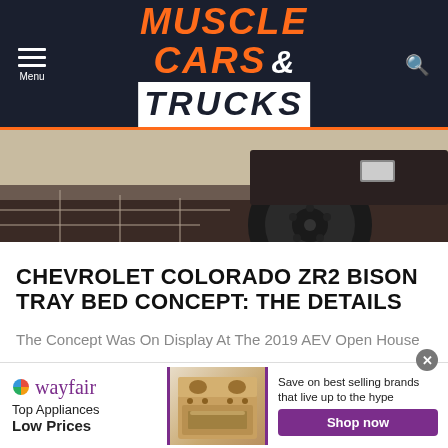MUSCLE CARS & TRUCKS
[Figure (photo): Close-up photo of a Chevrolet Colorado ZR2 Bison truck tire and wheel arch in an indoor setting, sepia/dark tones]
CHEVROLET COLORADO ZR2 BISON TRAY BED CONCEPT: THE DETAILS
The Concept Was On Display At The 2019 AEV Open House
[Figure (advertisement): Wayfair advertisement banner: Top Appliances, Low Prices. Save on best selling brands that live up to the hype. Shop now button. Image of a kitchen stove/range.]